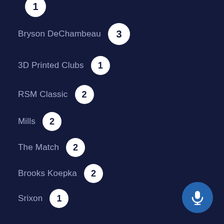Bryson DeChambeau 3
3D Printed Clubs 1
RSM Classic 2
Mills 2
The Match 2
Brooks Koepka 2
Srixon 1
Hero World Challenge 2
Victor Hovland 1
Rory McIlroy 1
Iron Bounce 1